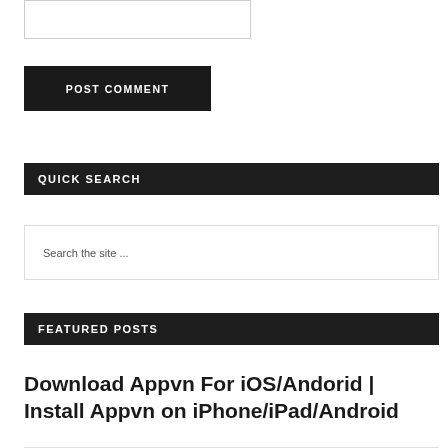[textarea box]
POST COMMENT
QUICK SEARCH
Search the site ...
FEATURED POSTS
Download Appvn For iOS/Andorid | Install Appvn on iPhone/iPad/Android